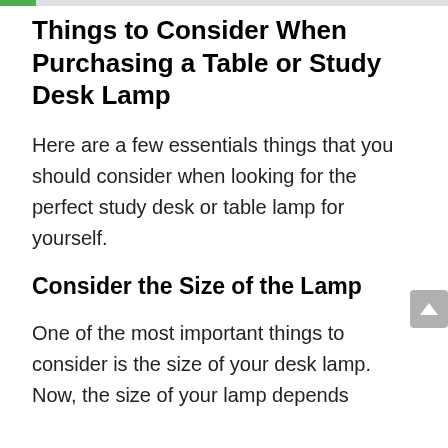Things to Consider When Purchasing a Table or Study Desk Lamp
Here are a few essentials things that you should consider when looking for the perfect study desk or table lamp for yourself.
Consider the Size of the Lamp
One of the most important things to consider is the size of your desk lamp. Now, the size of your lamp depends